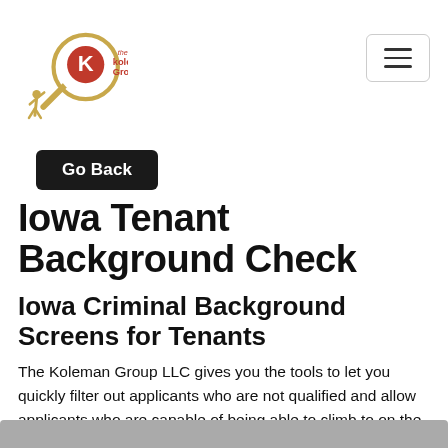[Figure (logo): Koleman Group LLC logo with magnifying glass and K emblem]
Go Back
Iowa Tenant Background Check
Iowa Criminal Background Screens for Tenants
The Koleman Group LLC gives you the tools to let you quickly filter out applicants who are not qualified and allow applicants who are capable of being able to climb to on the applicant's list.